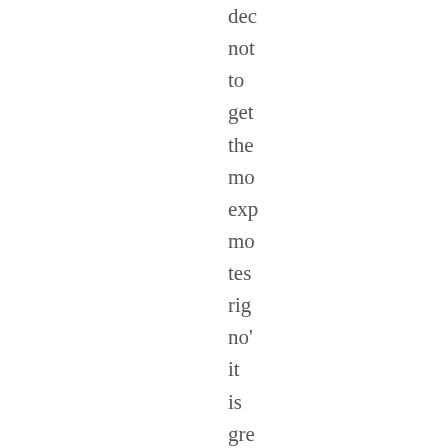dec
not
to
get
the
mo
exp
mo
tes
rig
no'
it
is
gre
to
hav
a
bet
up(